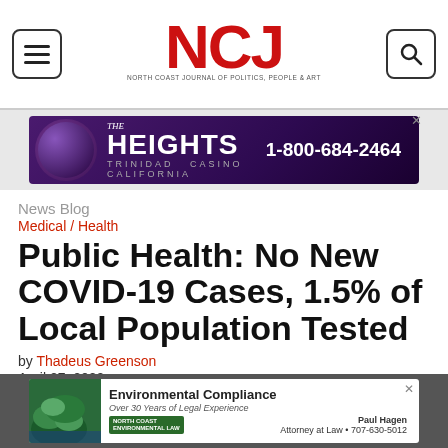NCJ — North Coast Journal of Politics, People & Art
[Figure (advertisement): The Heights Casino advertisement with phone number 1-800-684-2464]
News Blog
Medical / Health
Public Health: No New COVID-19 Cases, 1.5% of Local Population Tested
by Thadeus Greenson
April 27, 2020
[Figure (advertisement): Environmental Compliance advertisement — Over 30 Years of Legal Experience. North Coast. Paul Hagen, Attorney at Law • 707-630-5012]